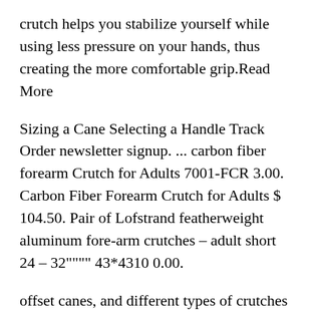crutch helps you stabilize yourself while using less pressure on your hands, thus creating the more comfortable grip.Read More
Sizing a Cane Selecting a Handle Track Order newsletter signup. ... carbon fiber forearm Crutch for Adults 7001-FCR 3.00. Carbon Fiber Forearm Crutch for Adults $ 104.50. Pair of Lofstrand featherweight aluminum fore-arm crutches – adult short 24 – 32"""" 43*4310 0.00.
offset canes, and different types of crutches such as axillary crutches, elbow crutches and forearm crutches. Axillary crutches are also called as underarm crutches. Based on distribution channel, the ...
Wheelchair Portable Ramps Lightweight PORTABLE ACCESS RAMPS FOR